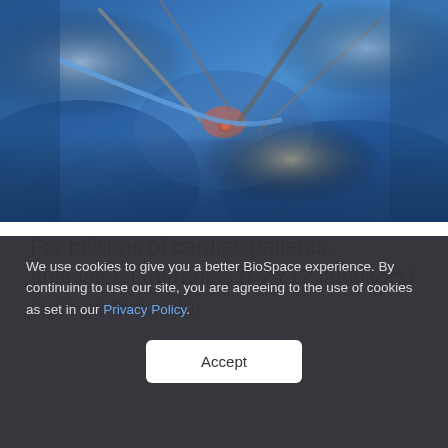[Figure (photo): Surgeons in blue scrubs performing a cardiac surgical procedure, gloved hands holding surgical instruments over a patient]
For millions of cardiac patients, antiplatelet therapies (P2Y12 inhibitors) such as ticagrelor
We use cookies to give you a better BioSpace experience. By continuing to use our site, you are agreeing to the use of cookies as set in our Privacy Policy.